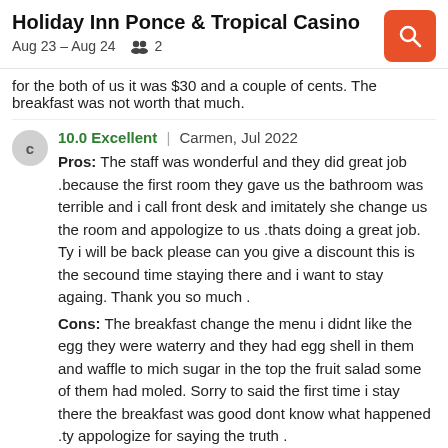Holiday Inn Ponce & Tropical Casino
Aug 23 – Aug 24   2
for the both of us it was $30 and a couple of cents. The breakfast was not worth that much.
10.0 Excellent | Carmen, Jul 2022
Pros: The staff was wonderful and they did great job .because the first room they gave us the bathroom was terrible and i call front desk and imitately she change us the room and appologize to us .thats doing a great job. Ty i will be back please can you give a discount this is the secound time staying there and i want to stay againg. Thank you so much .
Cons: The breakfast change the menu i didnt like the egg they were waterry and they had egg shell in them and waffle to mich sugar in the top the fruit salad some of them had moled. Sorry to said the first time i stay there the breakfast was good dont know what happened .ty appologize for saying the truth .
6.0 Okay | Verified Hotel Guest, Jul 2022
Pros: Staff and corporate personnel professionals thank everyone.